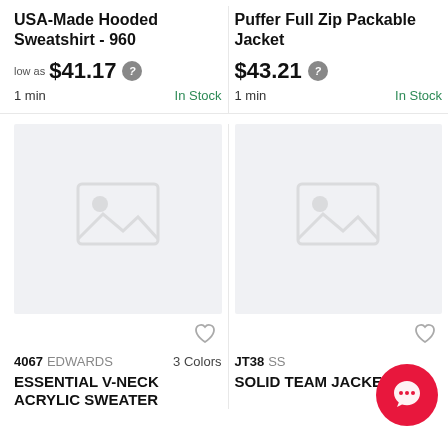USA-Made Hooded Sweatshirt - 960
low as $41.17
1 min   In Stock
[Figure (illustration): Placeholder product image for Essential V-Neck Acrylic Sweater]
4067 EDWARDS   3 Colors
ESSENTIAL V-NECK ACRYLIC SWEATER
Puffer Full Zip Packable Jacket
$43.21
1 min   In Stock
[Figure (illustration): Placeholder product image for Solid Team Jacket]
JT38 SS
Solid Team Jacket